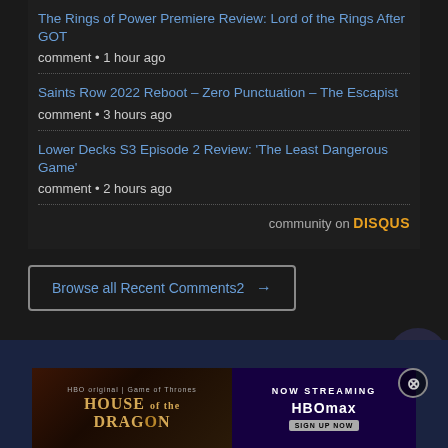The Rings of Power Premiere Review: Lord of the Rings After GOT
comment • 1 hour ago
Saints Row 2022 Reboot – Zero Punctuation – The Escapist
comment • 3 hours ago
Lower Decks S3 Episode 2 Review: 'The Least Dangerous Game'
comment • 2 hours ago
community on DISQUS
Browse all Recent Comments2 →
[Figure (screenshot): House of the Dragon HBO advertisement banner with 'NOW STREAMING HBOMAX' text]